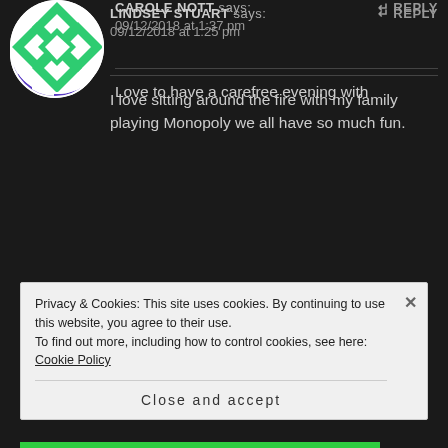[Figure (illustration): Purple and white geometric pattern avatar for Lindsey Stuart]
LINDSEY STUART says:
09/12/2018 at 1:25 pm
I love sitting around the fire with my family playing Monopoly we all have so much fun.
[Figure (illustration): Green and white geometric pattern avatar for Carole Nott]
CAROLE NOTT says:
09/12/2018 at 1:37 pm
Love to have a carefree evening with
Privacy & Cookies: This site uses cookies. By continuing to use this website, you agree to their use.
To find out more, including how to control cookies, see here: Cookie Policy
Close and accept